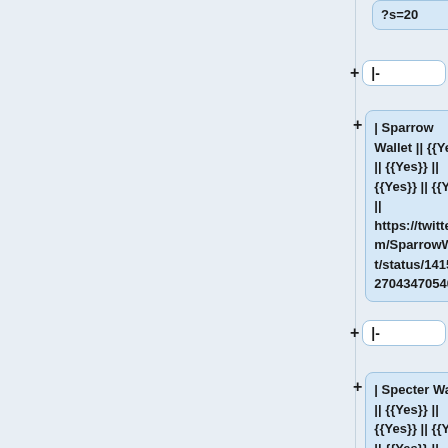?s=20
|-
| Sparrow Wallet || {{Yes}} || {{Yes}} || {{Yes}} || {{Yes}} || https://twitter.com/SparrowWallet/status/1415632270434705408
|-
| Specter Wallet || {{Yes}} || {{Yes}} || {{Yes}} || {{Yes}} || https://twitter.com/_benkaufman/status/1431293856675508228